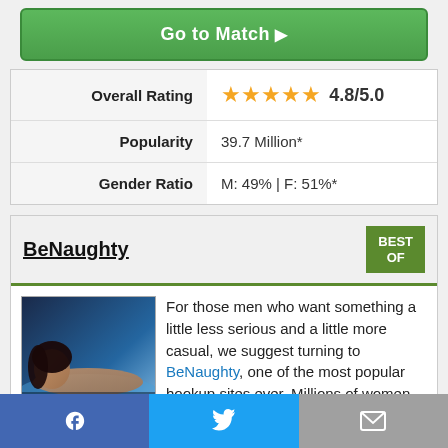Go to Match
| Overall Rating | ★★★★★ 4.8/5.0 |
| Popularity | 39.7 Million* |
| Gender Ratio | M: 49% | F: 51%* |
BeNaughty
BEST OF
[Figure (photo): BeNaughty promotional image showing a woman and the BeNaughty logo]
For those men who want something a little less serious and a little more casual, we suggest turning to BeNaughty, one of the most popular hookup sites ever. Millions of women from all over the world have
Facebook share | Twitter share | Email share